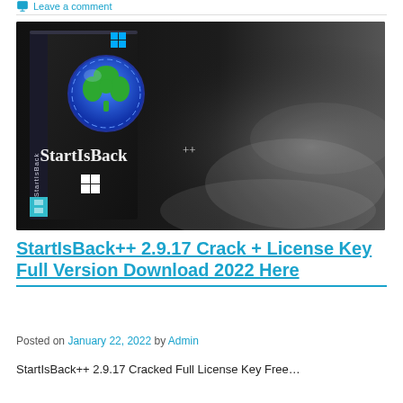Leave a comment
[Figure (photo): Product box image for StartIsBack++ software showing a dark box with a green shamrock logo on a blue circular badge, the text 'StartIsBack++' on the box, and a Windows logo. The background shows misty grey clouds.]
StartIsBack++ 2.9.17 Crack + License Key Full Version Download 2022 Here
Posted on January 22, 2022 by Admin
StartIsBack++ 2.9.17 Cracked Full License Key Free...